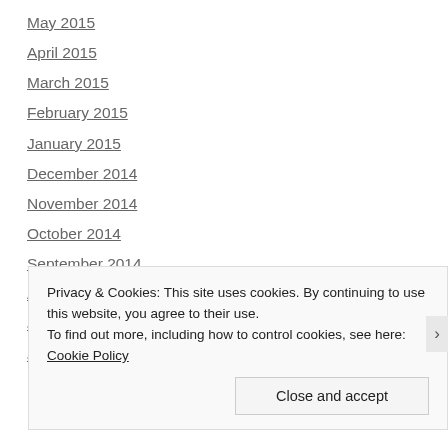May 2015
April 2015
March 2015
February 2015
January 2015
December 2014
November 2014
October 2014
September 2014
August 2014
July 2014
June 2014
Privacy & Cookies: This site uses cookies. By continuing to use this website, you agree to their use.
To find out more, including how to control cookies, see here: Cookie Policy
Close and accept